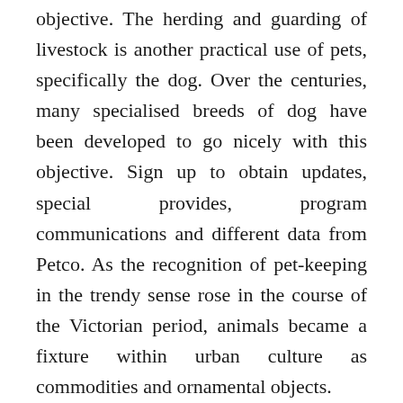objective. The herding and guarding of livestock is another practical use of pets, specifically the dog. Over the centuries, many specialised breeds of dog have been developed to go nicely with this objective. Sign up to obtain updates, special provides, program communications and different data from Petco. As the recognition of pet-keeping in the trendy sense rose in the course of the Victorian period, animals became a fixture within urban culture as commodities and ornamental objects.
It went on to turn out to be the highest-grossing film of the summer season that 12 months. The cumulative complete for the four-day holiday (August 11–14) was $9.7 million. In Germany, it